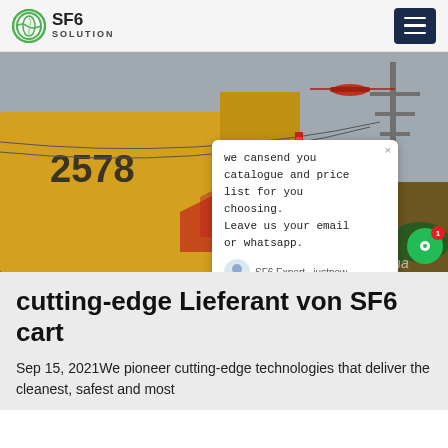SF6 SOLUTION
[Figure (photo): Yellow truck numbered 2578 with equipment at an industrial/electrical site, helicopter visible in sky, blue barrel, power structures in background. Chat popup overlay with text: 'we can send you catalogue and price list for you choosing. Leave us your email or whatsapp.' SF6 Expert just now. Write.]
cutting-edge Lieferant von SF6 cart
Sep 15, 2021We pioneer cutting-edge technologies that deliver the cleanest, safest and most